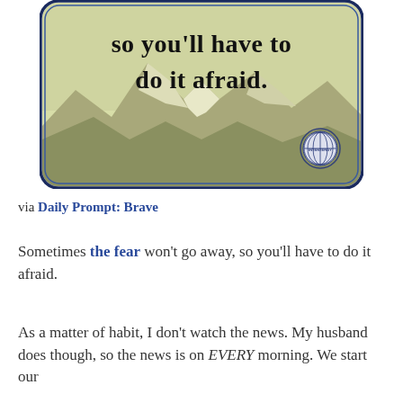[Figure (illustration): An inspirational quote card with a mountain background image. The card has a rounded rectangle border in dark blue/navy. The background shows a yellowish-green tinted mountain landscape. Large bold black text reads 'so you'll have to do it afraid.' A circular logo with 'INTENTERGY' text appears in the bottom right of the card.]
via Daily Prompt: Brave
Sometimes the fear won't go away, so you'll have to do it afraid.
As a matter of habit, I don't watch the news. My husband does though, so the news is on EVERY morning. We start our